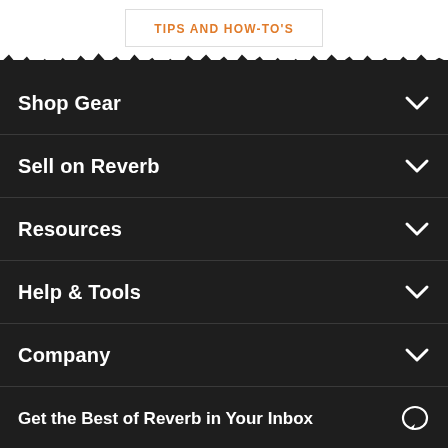TIPS AND HOW-TO'S
Shop Gear
Sell on Reverb
Resources
Help & Tools
Company
Get the Best of Reverb in Your Inbox